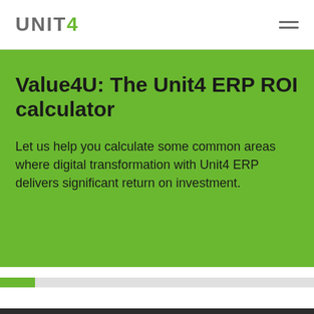UNIT4
Value4U: The Unit4 ERP ROI calculator
Let us help you calculate some common areas where digital transformation with Unit4 ERP delivers significant return on investment.